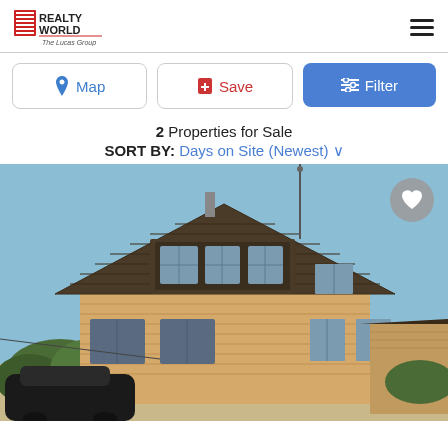[Figure (logo): Realty World - The Lucas Group logo with red and white striped house icon and bold text]
Map
Save
Filter
2 Properties for Sale
SORT BY: Days on Site (Newest) ∨
[Figure (photo): Exterior photo of a two-story craftsman-style house with brown/tan wood siding, steep gabled roof, multiple windows, a dark car parked in front, and trees in the background under a blue sky]